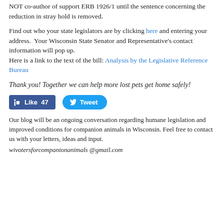NOT co-author of support ERB 1926/1 until the sentence concerning the reduction in stray hold is removed.
Find out who your state legislators are by clicking here and entering your address.  Your Wisconsin State Senator and Representative's contact information will pop up.
Here is a link to the text of the bill: Analysis by the Legislative Reference Bureau
Thank you! Together we can help more lost pets get home safely!
[Figure (other): Facebook Like button showing 47 likes and a Twitter Tweet button]
Our blog will be an ongoing conversation regarding humane legislation and improved conditions for companion animals in Wisconsin. Feel free to contact us with your letters, ideas and input.
wivotersforcompanionanimals @gmail.com